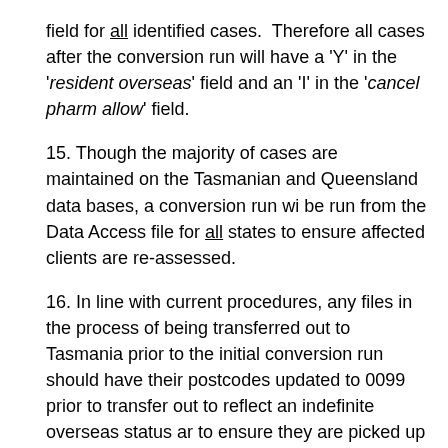field for all identified cases.  Therefore all cases after the conversion run will have a 'Y' in the 'resident overseas' field and an 'I' in the 'cancel pharm allow' field.
15. Though the majority of cases are maintained on the Tasmanian and Queensland data bases, a conversion run will be run from the Data Access file for all states to ensure affected clients are re-assessed.
16. In line with current procedures, any files in the process of being transferred out to Tasmania prior to the initial conversion run should have their postcodes updated to 0099 prior to transfer out to reflect an indefinite overseas status and to ensure they are picked up on the run.  After the conversion run, the new 'cancel pharm allow' field will be available for manual update during the transfer in process.
INITIAL CANCELLATION RUN